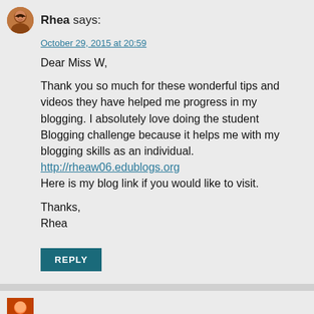Rhea says:
October 29, 2015 at 20:59
Dear Miss W,

Thank you so much for these wonderful tips and videos they have helped me progress in my blogging. I absolutely love doing the student Blogging challenge because it helps me with my blogging skills as an individual.
http://rheaw06.edublogs.org
Here is my blog link if you would like to visit.

Thanks,
Rhea
REPLY